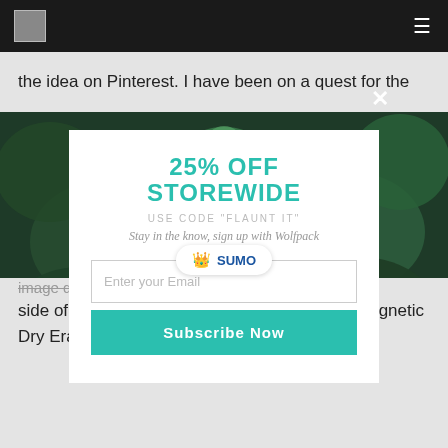[Logo] [Navigation menu icon]
the idea on Pinterest. I have been on a quest for the
[Figure (photo): Close-up photo of green succulent plants with thick rounded leaves arranged tightly together]
25% OFF STOREWIDE
USE CODE "FLAUNT IT"
Stay in the know, sign up with Wolfpack
Enter your Email
Subscribe Now
image doors are non magnetic, but it does stick to the side of the fridge. Turn your TV Fridge into a Magnetic Dry Erase Board. Don't worry we won't get